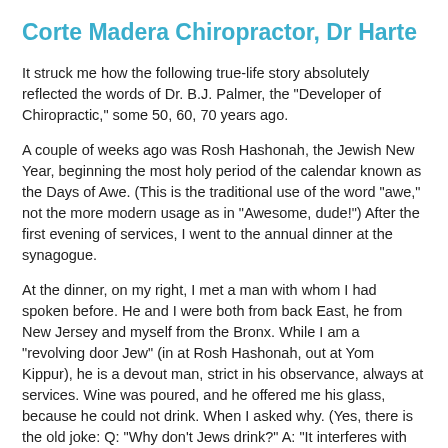Corte Madera Chiropractor, Dr Harte
It struck me how the following true-life story absolutely reflected the words of Dr. B.J. Palmer, the "Developer of Chiropractic," some 50, 60, 70 years ago.
A couple of weeks ago was Rosh Hashonah, the Jewish New Year, beginning the most holy period of the calendar known as the Days of Awe. (This is the traditional use of the word "awe," not the more modern usage as in "Awesome, dude!") After the first evening of services, I went to the annual dinner at the synagogue.
At the dinner, on my right, I met a man with whom I had spoken before. He and I were both from back East, he from New Jersey and myself from the Bronx. While I am a "revolving door Jew" (in at Rosh Hashonah, out at Yom Kippur), he is a devout man, strict in his observance, always at services. Wine was poured, and he offered me his glass, because he could not drink. When I asked why. (Yes, there is the old joke: Q: "Why don't Jews drink?" A: "It interferes with